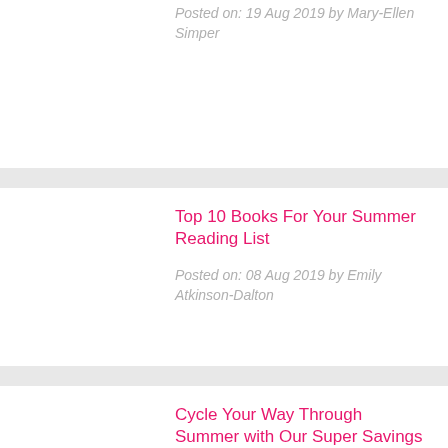Posted on: 19 Aug 2019 by Mary-Ellen Simper
Top 10 Books For Your Summer Reading List
Posted on: 08 Aug 2019 by Emily Atkinson-Dalton
Cycle Your Way Through Summer with Our Super Savings
Posted on: 05 Aug 2019 by Anna Scott